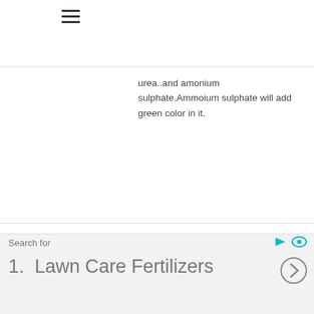[Figure (other): Hamburger menu icon (three horizontal lines)]
urea..and amonium sulphate.Ammoium sulphate will add green color in it.
CHARLES. CHRISTIAN
September 5, 2012 at 3:03 am
I just had my lawn aerated in september,should I seed and put sand this time of year.
Search for
1.  Lawn Care Fertilizers